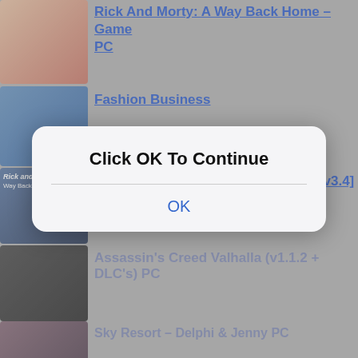[Figure (screenshot): Website listing of PC game download links with thumbnails on the left and blue linked titles on the right, partially obscured by a modal dialog saying 'Click OK To Continue' with an OK button]
Rick And Morty: A Way Back Home – Game PC
Fashion Business
Rick And Morty A Way Back Home [v3.4] PC
Assassin's Creed Valhalla (v1.1.2 + DLC's) PC
Sky Resort – Delphi & Jenny PC
[ ]/UnclNeihhbor uncle Dalton Simulator (v01.03.2021) PC
Pokémon Legends: Arceus PC (v1.0.0) PC
Lust Epidemic PC
Click OK To Continue
OK